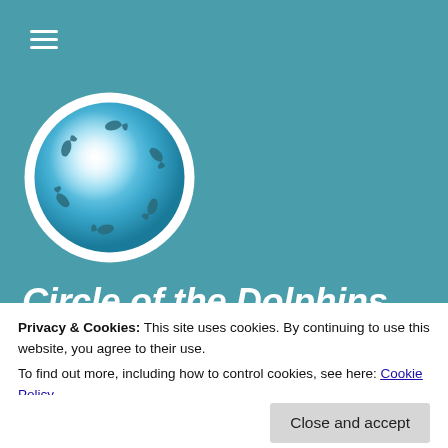[Figure (logo): Circle of dolphins logo: a globe-like sphere with dolphins swimming in a circle around a bright white center, blue gradient background, white circular border]
Circle of the Dolphins
Privacy & Cookies: This site uses cookies. By continuing to use this website, you agree to their use.
To find out more, including how to control cookies, see here: Cookie Policy
Close and accept
Alien Personal Pets